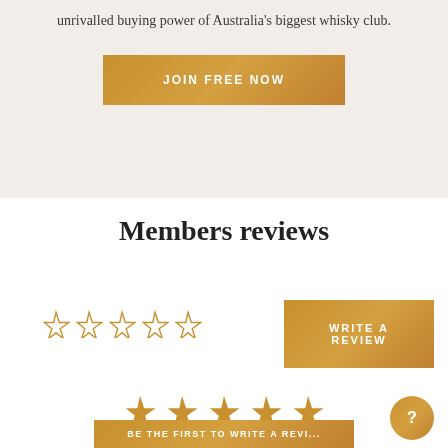unrivalled buying power of Australia's biggest whisky club.
JOIN FREE NOW
Members reviews
[Figure (other): Five empty star rating icons in gold/tan outline]
WRITE A REVIEW
[Figure (other): Five filled gold star rating icons]
FIND THE FOLLOWING A REVI...